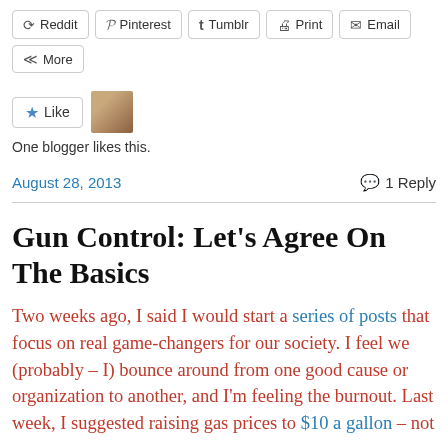[Figure (screenshot): Social sharing buttons row: Reddit, Pinterest, Tumblr, Print, Email, and More]
[Figure (screenshot): Like button with blue star and avatar image showing one blogger likes this]
One blogger likes this.
August 28, 2013  💬 1 Reply
Gun Control: Let's Agree On The Basics
Two weeks ago, I said I would start a series of posts that focus on real game-changers for our society. I feel we (probably – I) bounce around from one good cause or organization to another, and I'm feeling the burnout. Last week, I suggested raising gas prices to $10 a gallon – not